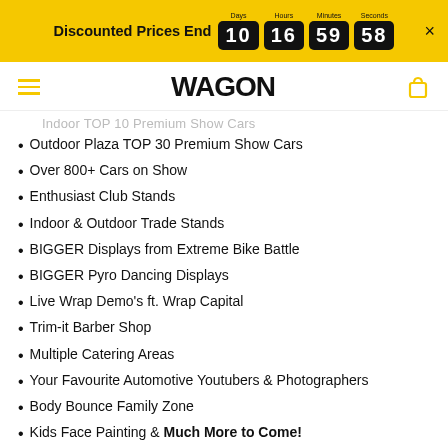Discounted Prices End 10 Days 16 Hours 59 Minutes 58 Seconds ×
[Figure (logo): WAGON logo with hamburger menu and cart icon]
Indoor TOP 10 Premium Show Cars (truncated/partially visible)
Outdoor Plaza TOP 30 Premium Show Cars
Over 800+ Cars on Show
Enthusiast Club Stands
Indoor & Outdoor Trade Stands
BIGGER Displays from Extreme Bike Battle
BIGGER Pyro Dancing Displays
Live Wrap Demo's ft. Wrap Capital
Trim-it Barber Shop
Multiple Catering Areas
Your Favourite Automotive Youtubers & Photographers
Body Bounce Family Zone
Kids Face Painting & Much More to Come!
THE IMPORTANT STUFF
Event Date: Sunday 18th September 2022